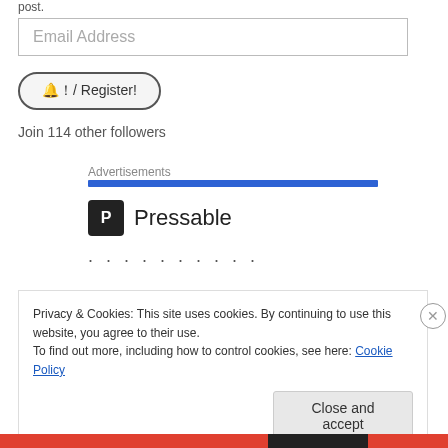post.
Email Address
🔔！/ Register!
Join 114 other followers
Advertisements
[Figure (logo): Pressable logo with P icon in dark square and word Pressable in large text]
· · · · · · · · · ·
Privacy & Cookies: This site uses cookies. By continuing to use this website, you agree to their use.
To find out more, including how to control cookies, see here: Cookie Policy
Close and accept